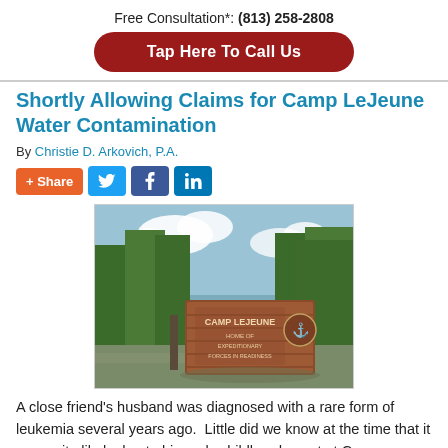Free Consultation*: (813) 258-2808
Tap Here To Call Us
Shortly Allowing Claims for Camp LeJeune Water Contamination
By Christie D. Arkovich, P.A.
[Figure (other): Social share buttons: +Share, Twitter, Facebook, LinkedIn]
[Figure (photo): Photo of Camp LeJeune entrance sign on a brick monument surrounded by trees]
A close friend's husband was diagnosed with a rare form of leukemia several years ago.  Little did we know at the time that it was quite likely due to his early childhood spent at Camp LeJeune.  I